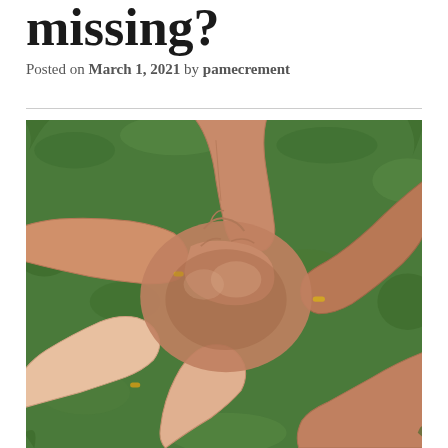missing?
Posted on March 1, 2021 by pamecrement
[Figure (photo): Overhead view of multiple hands grabbing each other's wrists in a circular chain on a green grassy background. Several hands are wearing gold rings.]